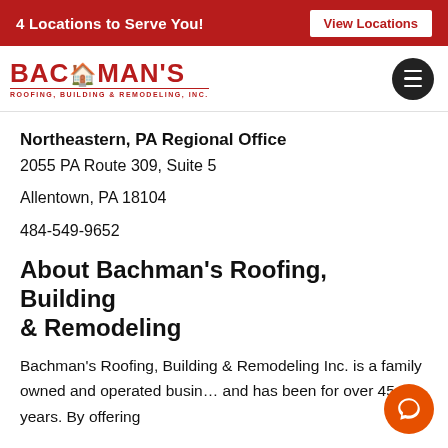4 Locations to Serve You!   View Locations
[Figure (logo): Bachman's Roofing, Building & Remodeling, Inc. logo in red with house icon, and hamburger menu icon]
Northeastern, PA Regional Office
2055 PA Route 309, Suite 5
Allentown, PA 18104
484-549-9652
About Bachman's Roofing, Building & Remodeling
Bachman's Roofing, Building & Remodeling Inc. is a family owned and operated business and has been for over 45 years. By offering